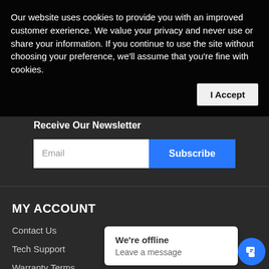Our website uses cookies to provide you with an improved customer exerience. We value your privacy and never use or share your information. If you continue to use the site without choosing your preference, we'll assume that you're fine with cookies.
I Accept
Receive Our Newsletter
Email
Subscribe
MY ACCOUNT
Contact Us
Tech Support
Warranty Terms
We're offline
Leave a message